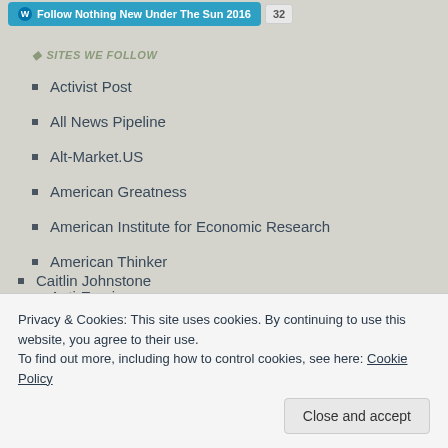[Figure (screenshot): WordPress Follow button bar at top: blue 'Follow Nothing New Under The Sun 2016' button with WordPress logo, and count badge showing '32']
SITES WE FOLLOW
Activist Post
All News Pipeline
Alt-Market.US
American Greatness
American Institute for Economic Research
American Thinker
Anti-Empire
AntiWar.Com
Architects & Engineers for 9/11 Truth
Caitlin Johnstone
Privacy & Cookies: This site uses cookies. By continuing to use this website, you agree to their use.
To find out more, including how to control cookies, see here: Cookie Policy
Close and accept